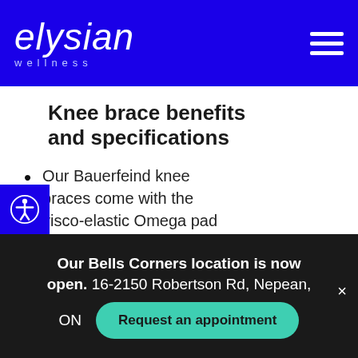elysian wellness
Knee brace benefits and specifications
Our Bauerfeind knee braces come with the visco-elastic Omega pad
The ring-shaped pad serves as a functional
Our Bells Corners location is now open. 16-2150 Robertson Rd, Nepean, ON
Request an appointment